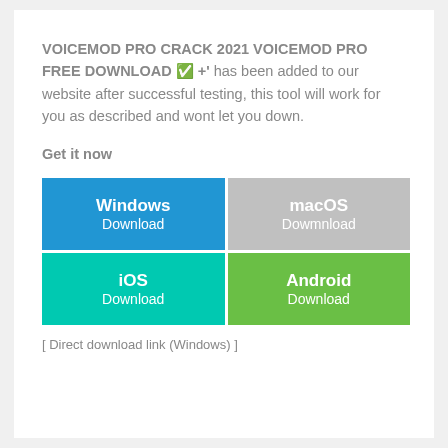VOICEMOD PRO CRACK 2021 VOICEMOD PRO FREE DOWNLOAD ✅ +' has been added to our website after successful testing, this tool will work for you as described and wont let you down.
Get it now
[Figure (infographic): Four download buttons in a 2x2 grid: Windows Download (blue), macOS Dowmnload (gray), iOS Download (teal/cyan), Android Download (green)]
[ Direct download link (Windows) ]